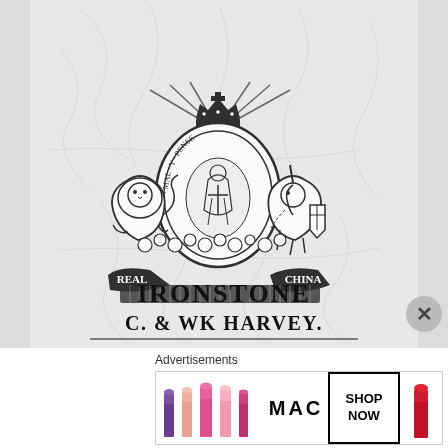[Figure (photo): Close-up photograph of a ceramic maker's mark on crackled white ironstone china. The mark features a British Royal coat of arms with a lion on the left and a unicorn on the right, a crown at the top, a central shield with the motto 'HONI SOIT QUI MAL Y PENSE' encircling it, and banners reading 'REAL' on the left and 'CHINA' on the right. Below the crest is printed 'IRONSTONE' and 'C. & WK HARVEY.']
Advertisements
[Figure (photo): MAC cosmetics advertisement showing several lipsticks on the left (purple, peach, pink), the MAC logo in the center, a 'SHOP NOW' box, and a red lipstick on the right.]